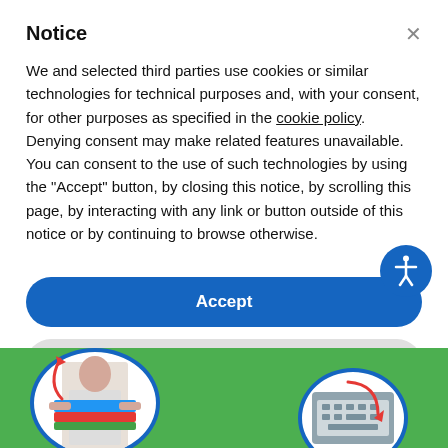Notice
We and selected third parties use cookies or similar technologies for technical purposes and, with your consent, for other purposes as specified in the cookie policy. Denying consent may make related features unavailable. You can consent to the use of such technologies by using the "Accept" button, by closing this notice, by scrolling this page, by interacting with any link or button outside of this notice or by continuing to browse otherwise.
Accept
Learn more and customize
[Figure (photo): Background section with green background showing two circular photo frames — one with a person carrying stacks of binders/folders, and another with what appears to be a keyboard or device. Red curved arrows appear near each circle.]